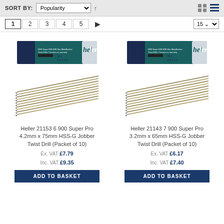SORT BY: Popularity
1 2 3 4 5 ▶   15
[Figure (photo): Heller brand HSS-G drill bits, 10 pack, 6.0mm, shown with packaging and spread out drill bits - product 1]
Heller 21153 6 900 Super Pro 4.2mm x 75mm HSS-G Jobber Twist Drill (Packet of 10)
Ex. VAT £7.79
Inc. VAT £9.35
ADD TO BASKET
[Figure (photo): Heller brand HSS-G drill bits, 10 pack, 6.0mm, shown with packaging and spread out drill bits - product 2]
Heller 21143 7 900 Super Pro 3.2mm x 65mm HSS-G Jobber Twist Drill (Packet of 10)
Ex. VAT £6.17
Inc. VAT £7.40
ADD TO BASKET